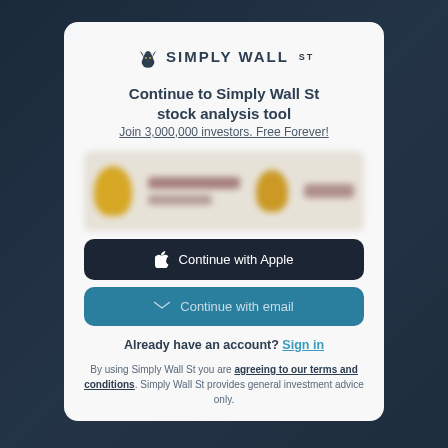[Figure (logo): Simply Wall St bull logo with text SIMPLY WALL ST]
Continue to Simply Wall St stock analysis tool
Join 3,000,000 investors. Free Forever!
[Figure (screenshot): Blurred sign-in options (Continue with Google and another option) obscured by yellow blob icons]
Continue with Apple
Continue with email
Already have an account? Sign in
By using Simply Wall St you are agreeing to our terms and conditions. Simply Wall St provides general investment advice only.